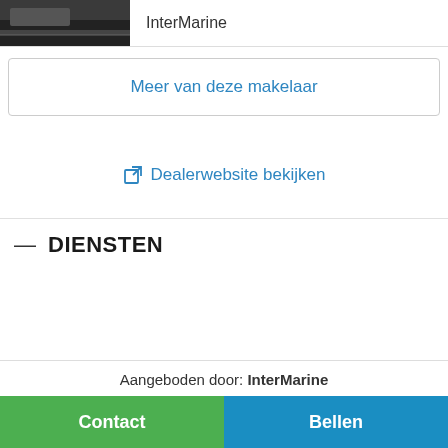[Figure (photo): Thumbnail image of a boat/marine vessel in dark tones, shown in a small rectangular preview on the left side of the top bar]
InterMarine
Meer van deze makelaar
Dealerwebsite bekijken
— DIENSTEN
Aangeboden door: InterMarine
Contact
Bellen